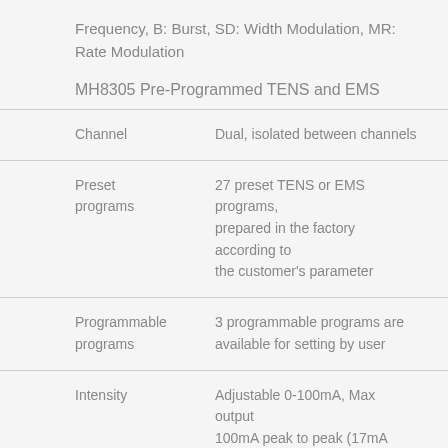Frequency, B: Burst, SD: Width Modulation, MR: Rate Modulation
MH8305 Pre-Programmed TENS and EMS
|  |  |
| --- | --- |
| Channel | Dual, isolated between channels |
| Preset programs | 27 preset TENS or EMS programs, prepared in the factory according to the customer’s parameter |
| Programmable programs | 3 programmable programs are available for setting by user |
| Intensity | Adjustable 0-100mA, Max output 100mA peak to peak (17mA rms) into 500ohm load each channel. |
| Wave form | Asymmetrical rectangular biphasic |